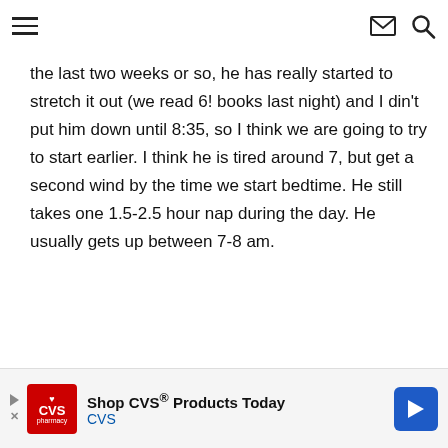navigation bar with hamburger menu, mail icon, and search icon
the last two weeks or so, he has really started to stretch it out (we read 6! books last night) and I din’t put him down until 8:35, so I think we are going to try to start earlier. I think he is tired around 7, but get a second wind by the time we start bedtime. He still takes one 1.5-2.5 hour nap during the day. He usually gets up between 7-8 am.
[Figure (other): CVS Pharmacy advertisement banner: 'Shop CVS® Products Today' with CVS logo and navigation arrow]